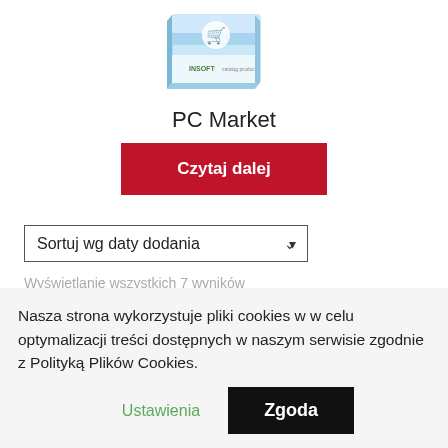[Figure (photo): Product box image of PC Market software with shopping cart icon and Insoft branding]
PC Market
Czytaj dalej
Sortuj wg daty dodania
Wyświetlanie wszystkich 7 wyników
Nasza strona wykorzystuje pliki cookies w w celu optymalizacji treści dostępnych w naszym serwisie zgodnie z Polityką Plików Cookies.
Ustawienia
Zgoda